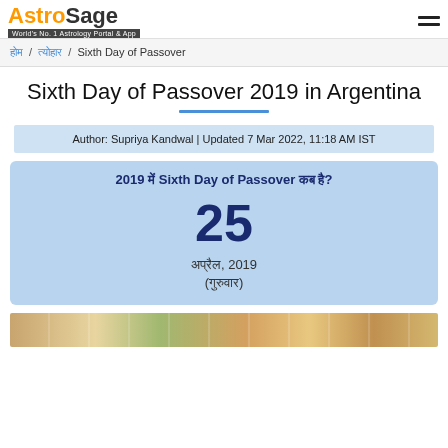AstroSage - World's No. 1 Astrology Portal & App
होम / त्योहार / Sixth Day of Passover
Sixth Day of Passover 2019 in Argentina
Author: Supriya Kandwal | Updated 7 Mar 2022, 11:18 AM IST
2019 में Sixth Day of Passover कब है?
25
अप्रैल, 2019
(गुरुवार)
[Figure (photo): Food photography strip showing Passover-related food items]